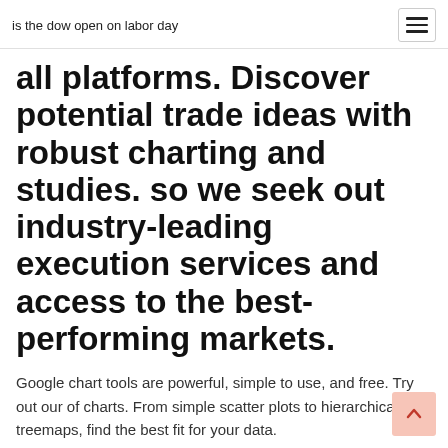is the dow open on labor day
all platforms. Discover potential trade ideas with robust charting and studies. so we seek out industry-leading execution services and access to the best-performing markets.
Google chart tools are powerful, simple to use, and free. Try out our of charts. From simple scatter plots to hierarchical treemaps, find the best fit for your data.
Best apps for charting and trading ideas To do this, you need a great